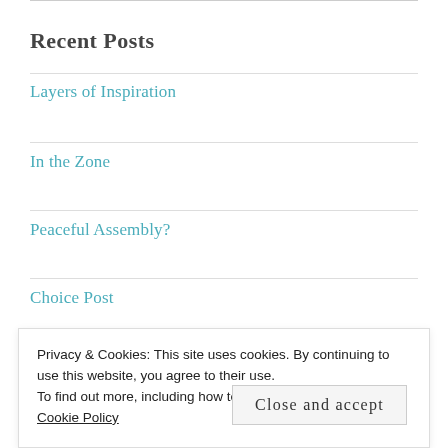Recent Posts
Layers of Inspiration
In the Zone
Peaceful Assembly?
Choice Post
Teacher
Privacy & Cookies: This site uses cookies. By continuing to use this website, you agree to their use.
To find out more, including how to control cookies, see here: Cookie Policy
Close and accept